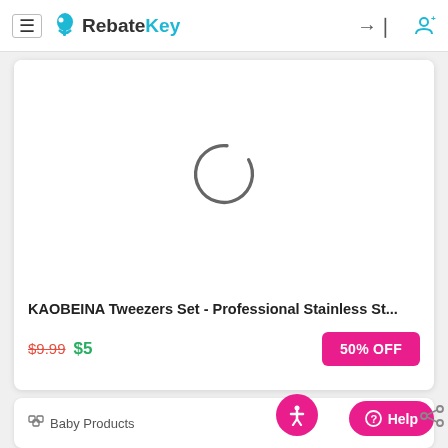[Figure (screenshot): RebateKey website navigation bar with hamburger menu, logo, sign-in and user icons]
[Figure (other): Product image loading spinner (circular arc) for KAOBEINA Tweezers Set product card]
KAOBEINA Tweezers Set - Professional Stainless St...
$9.99 $5
50% OFF
Baby Products